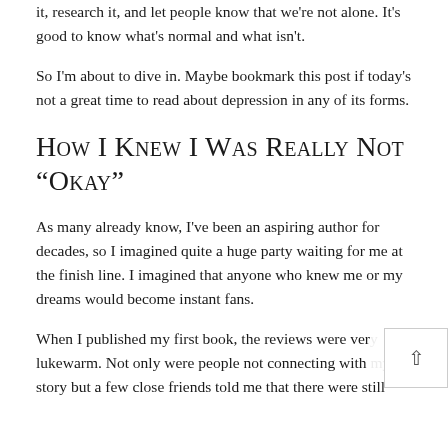it, research it, and let people know that we're not alone. It's good to know what's normal and what isn't.
So I'm about to dive in. Maybe bookmark this post if today's not a great time to read about depression in any of its forms.
How I Knew I Was Really Not “Okay”
As many already know, I've been an aspiring author for decades, so I imagined quite a huge party waiting for me at the finish line. I imagined that anyone who knew me or my dreams would become instant fans.
When I published my first book, the reviews were very lukewarm. Not only were people not connecting with my story but a few close friends told me that there were still